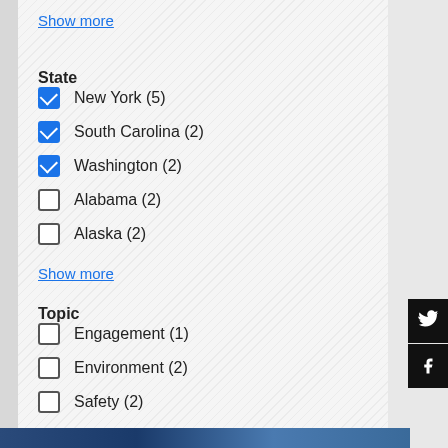Show more
State
New York (5) [checked]
South Carolina (2) [checked]
Washington (2) [checked]
Alabama (2) [unchecked]
Alaska (2) [unchecked]
Show more
Topic
Engagement (1) [unchecked]
Environment (2) [unchecked]
Safety (2) [unchecked]